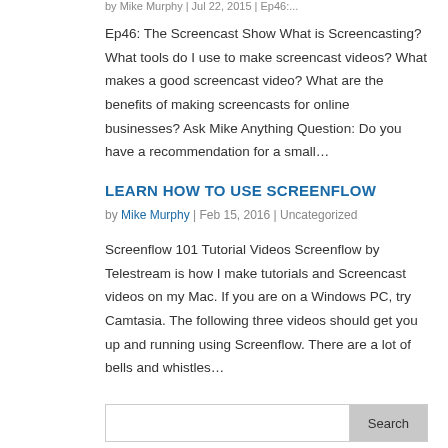by Mike Murphy | Jul 22, 2015 | Ep46:...
Ep46: The Screencast Show What is Screencasting? What tools do I use to make screencast videos? What makes a good screencast video? What are the benefits of making screencasts for online businesses? Ask Mike Anything Question: Do you have a recommendation for a small…
LEARN HOW TO USE SCREENFLOW
by Mike Murphy | Feb 15, 2016 | Uncategorized
Screenflow 101 Tutorial Videos Screenflow by Telestream is how I make tutorials and Screencast videos on my Mac. If you are on a Windows PC, try Camtasia. The following three videos should get you up and running using Screenflow. There are a lot of bells and whistles…